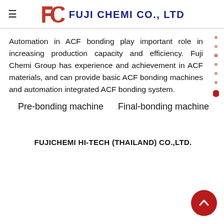FUJI CHEMI CO., LTD
Automation in ACF bonding play important role in increasing production capacity and efficiency. Fuji Chemi Group has experience and achievement in ACF materials, and can provide basic ACF bonding machines and automation integrated ACF bonding system.
Pre-bonding machine
Final-bonding machine
FUJICHEMI HI-TECH (THAILAND) CO.,LTD.